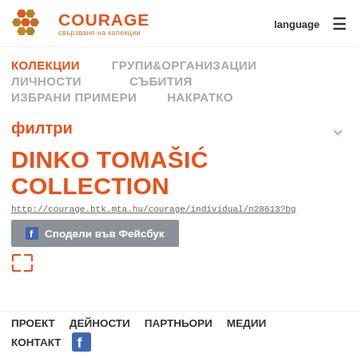COURAGE свързване на колекции | language ≡
КОЛЕКЦИИ  ГРУПИ&ОРГАНИЗАЦИИ
ЛИЧНОСТИ  СЪБИТИЯ
ИЗБРАНИ ПРИМЕРИ  НАКРАТКО
филтри
DINKO TOMAŠIĆ COLLECTION
http://courage.btk.mta.hu/courage/individual/n28613?bg
Сподели във Фейсбук
ПРОЕКТ  ДЕЙНОСТИ  ПАРТНЬОРИ  МЕДИИ  КОНТАКТ